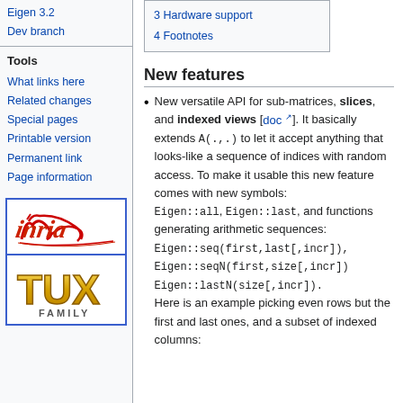Eigen 3.2
Dev branch
Tools
What links here
Related changes
Special pages
Printable version
Permanent link
Page information
[Figure (logo): Inria logo - red cursive text on white background]
[Figure (logo): Tux Family logo - golden metallic text on white background]
| 3 Hardware support |
| 4 Footnotes |
New features
New versatile API for sub-matrices, slices, and indexed views [doc]. It basically extends A(.,.) to let it accept anything that looks-like a sequence of indices with random access. To make it usable this new feature comes with new symbols: Eigen::all, Eigen::last, and functions generating arithmetic sequences: Eigen::seq(first,last[,incr]), Eigen::seqN(first,size[,incr]), Eigen::lastN(size[,incr]). Here is an example picking even rows but the first and last ones, and a subset of indexed columns: